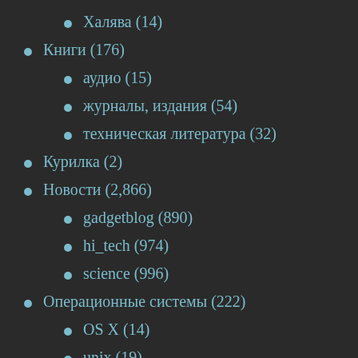Халява (14)
Книги (176)
аудио (15)
журналы, издания (54)
техническая литература (32)
Курилка (2)
Новости (2,866)
gadgetblog (890)
hi_tech (974)
science (996)
Операционные системы (222)
OS X (14)
unix (19)
windows (177)
Программы (1,750)
графические (246)